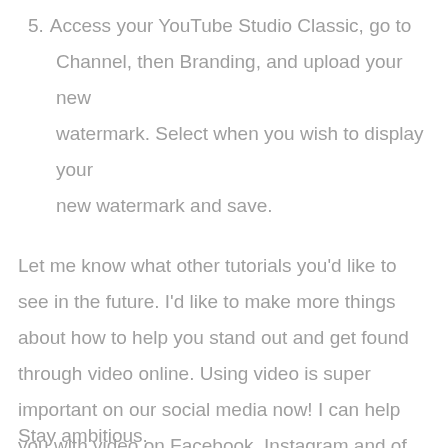5. Access your YouTube Studio Classic, go to Channel, then Branding, and upload your new watermark. Select when you wish to display your new watermark and save.
Let me know what other tutorials you'd like to see in the future. I'd like to make more things about how to help you stand out and get found through video online. Using video is super important on our social media now! I can help you with video on Facebook, Instagram and of course YouTube.
Stay ambitious.